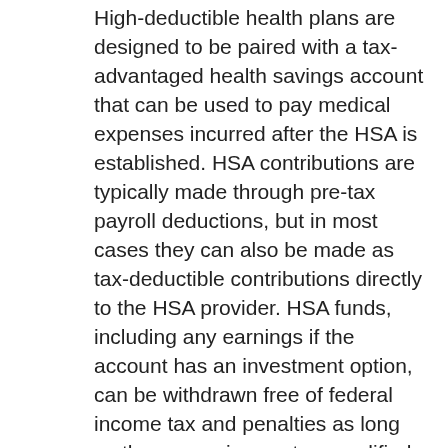High-deductible health plans are designed to be paired with a tax-advantaged health savings account that can be used to pay medical expenses incurred after the HSA is established. HSA contributions are typically made through pre-tax payroll deductions, but in most cases they can also be made as tax-deductible contributions directly to the HSA provider. HSA funds, including any earnings if the account has an investment option, can be withdrawn free of federal income tax and penalties as long as the money is spent on qualified health-care expenses. (Some states do not follow federal tax rules on HSAs.)
The assets in an HSA can be retained in the account or rolled over to a new HSA if you change employers or retire. Unspent HSA balances can be used to pay future medical expenses, whether you are enrolled in an HDHP or not; however, you must be enrolled in an HDHP to establish and contribute to an HSA.